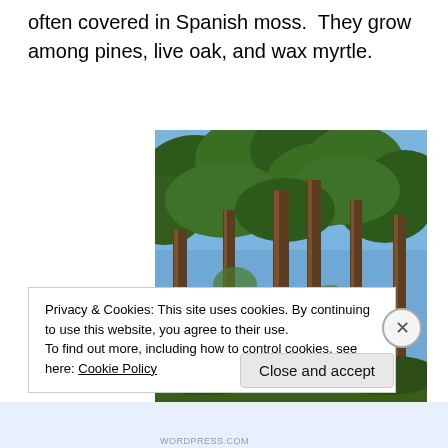often covered in Spanish moss.  They grow among pines, live oak, and wax myrtle.
[Figure (photo): Tall pine trees photographed looking up towards a blue sky, with green foliage visible at the top of the trees and tree trunks in the foreground.]
Privacy & Cookies: This site uses cookies. By continuing to use this website, you agree to their use.
To find out more, including how to control cookies, see here: Cookie Policy
Close and accept